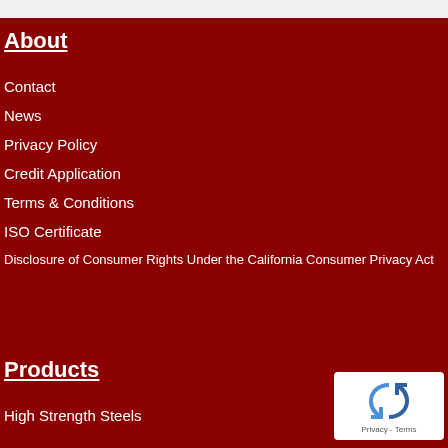About
Contact
News
Privacy Policy
Credit Application
Terms & Conditions
ISO Certificate
Disclosure of Consumer Rights Under the California Consumer Privacy Act
Products
High Strength Steels
[Figure (logo): reCAPTCHA badge with blue recycling arrow logo and 'Privacy - Terms' text]